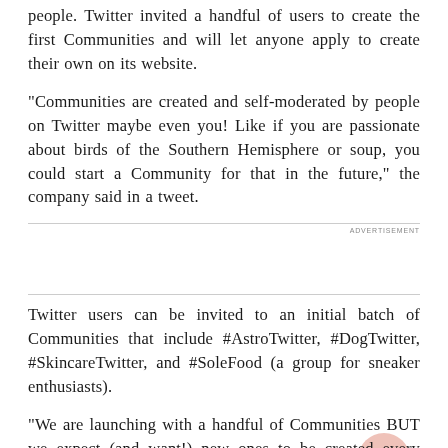people. Twitter invited a handful of users to create the first Communities and will let anyone apply to create their own on its website.
"Communities are created and self-moderated by people on Twitter maybe even you! Like if you are passionate about birds of the Southern Hemisphere or soup, you could start a Community for that in the future," the company said in a tweet.
ADVERTISEMENT
Twitter users can be invited to an initial batch of Communities that include #AstroTwitter, #DogTwitter, #SkincareTwitter, and #SoleFood (a group for sneaker enthusiasts).
"We are launching with a handful of Communities BUT we expect (and want!) new ones to be created every week. Our plan is to build and update